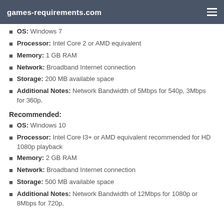games-requirements.com
OS: Windows 7
Processor: Intel Core 2 or AMD equivalent
Memory: 1 GB RAM
Network: Broadband Internet connection
Storage: 200 MB available space
Additional Notes: Network Bandwidth of 5Mbps for 540p, 3Mbps for 360p.
Recommended:
OS: Windows 10
Processor: Intel Core I3+ or AMD equivalent recommended for HD 1080p playback
Memory: 2 GB RAM
Network: Broadband Internet connection
Storage: 500 MB available space
Additional Notes: Network Bandwidth of 12Mbps for 1080p or 8Mbps for 720p.